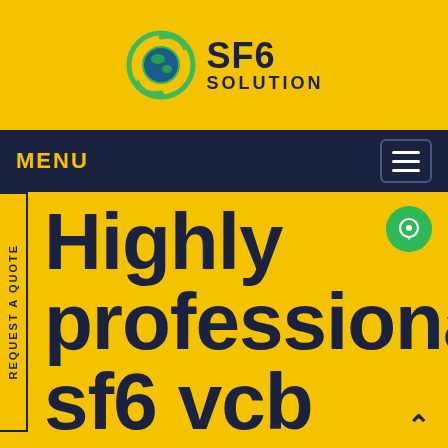[Figure (logo): SF6 Solution logo with circular green recycling arrows around a globe icon, and text 'SF6 SOLUTION' in dark navy]
MENU
Highly professional sf6 vcb Russia